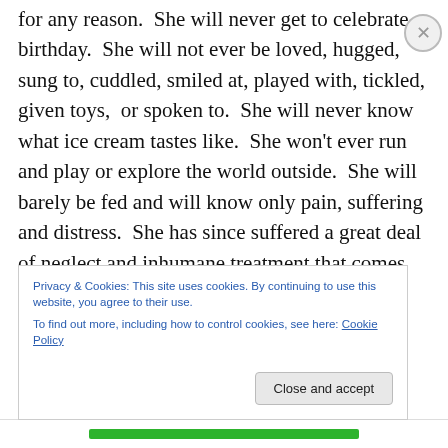for any reason.  She will never get to celebrate a birthday.  She will not ever be loved, hugged, sung to, cuddled, smiled at, played with, tickled, given toys,  or spoken to.  She will never know what ice cream tastes like.  She won't ever run and play or explore the world outside.  She will barely be fed and will know only pain, suffering and distress.  She has since suffered a great deal of neglect and inhumane treatment that comes with living in such an awful place.  A mental asylum is a scary place for a little child to be.  She is not crazy, and she doesn't have schizophrenia or some other mental issue that may make
Privacy & Cookies: This site uses cookies. By continuing to use this website, you agree to their use.
To find out more, including how to control cookies, see here: Cookie Policy
Close and accept